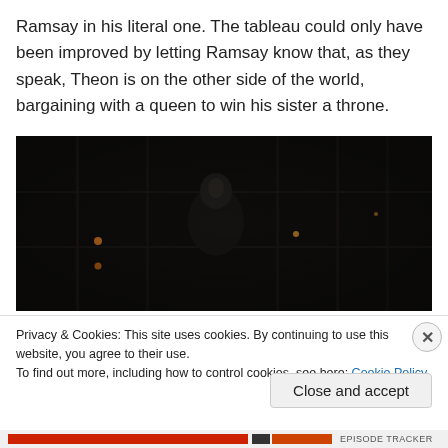Ramsay in his literal one. The tableau could only have been improved by letting Ramsay know that, as they speak, Theon is on the other side of the world, bargaining with a queen to win his sister a throne.
[Figure (photo): Dark scene from a TV show (likely Game of Thrones), showing a dimly lit interior with a figure visible in shadow, small points of light visible in the background.]
Privacy & Cookies: This site uses cookies. By continuing to use this website, you agree to their use.
To find out more, including how to control cookies, see here: Cookie Policy
Close and accept